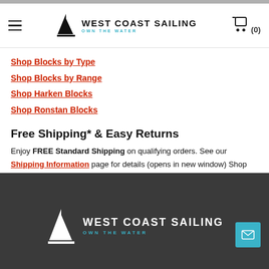West Coast Sailing — Own The Water
Shop Blocks by Type
Shop Blocks by Range
Shop Harken Blocks
Shop Ronstan Blocks
Free Shipping* & Easy Returns
Enjoy FREE Standard Shipping on qualifying orders. See our Shipping Information page for details (opens in new window) Shop with confidence thanks to easy returns and exchanges. Check out our Returns page for more information (opens in new window)
West Coast Sailing — Own The Water